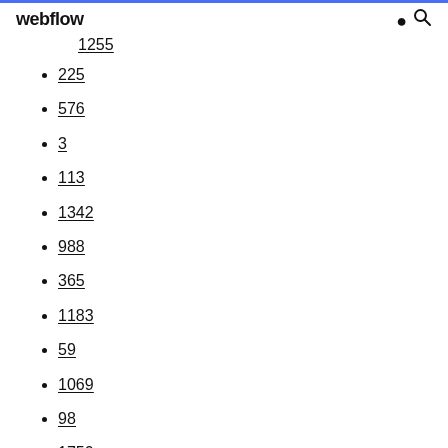webflow
1255
225
576
3
113
1342
988
365
1183
59
1069
98
1750